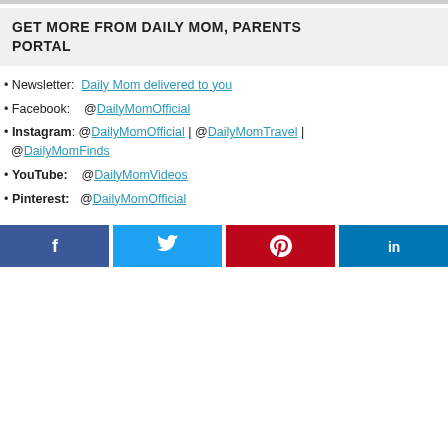GET MORE FROM DAILY MOM, PARENTS PORTAL
• Newsletter:  Daily Mom delivered to you
• Facebook:   @DailyMomOfficial
• Instagram: @DailyMomOfficial | @DailyMomTravel | @DailyMomFinds
• YouTube:    @DailyMomVideos
• Pinterest:   @DailyMomOfficial
[Figure (infographic): Four social media share buttons: Facebook (dark blue, f icon), Twitter (light blue, bird icon), Pinterest (red, p icon), LinkedIn (blue, in icon)]